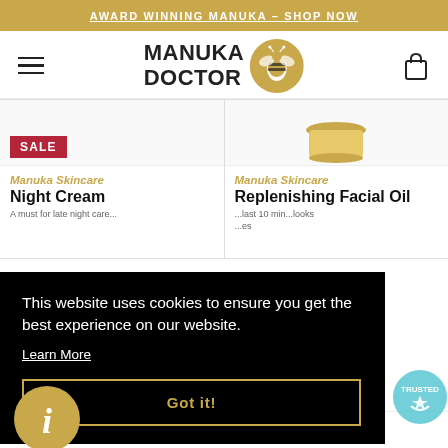AWARD WINNING MANUKA – SHOP NOW
[Figure (logo): Manuka Doctor logo with bee emblem in gold circle]
SALE
Manuka Skincare
Night Cream
Manuka Skincare
Replenishing Facial Oil
This website uses cookies to ensure you get the best experience on our website.
Learn More
Got it!